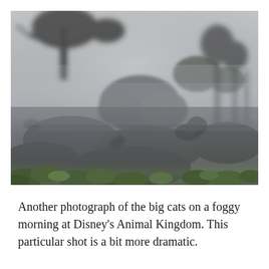[Figure (photo): A misty, foggy morning photograph showing big cats (lions) resting on large rocks at Disney's Animal Kingdom. Trees are silhouetted in the background through heavy fog. Green foliage visible in the foreground bottom. The scene is dramatic and moody in muted grey tones.]
Another photograph of the big cats on a foggy morning at Disney's Animal Kingdom. This particular shot is a bit more dramatic.